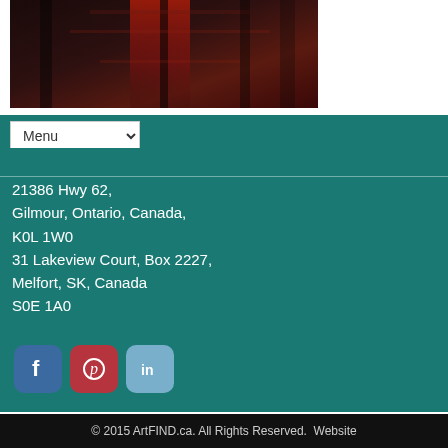[Figure (photo): Abstract painting with dark tones and red highlights, partially visible at top of page]
Menu
21386 Hwy 62,
Gilmour, Ontario, Canada,
K0L 1W0
31 Lakeview Court, Box 2227,
Melfort, SK, Canada
S0E 1A0
[Figure (logo): Facebook, Pinterest, and LinkedIn social media icon buttons]
© 2015 ArtFIND.ca. All Rights Reserved. Website